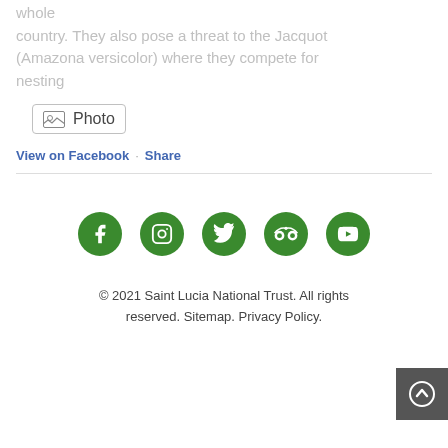whole country. They also pose a threat to the Jacquot (Amazona versicolor) where they compete for nesting
[Figure (other): Photo button with image icon and label 'Photo']
View on Facebook · Share
[Figure (other): Social media icons row: Facebook, Instagram, Twitter, Tripadvisor, YouTube — all green circles]
© 2021 Saint Lucia National Trust. All rights reserved. Sitemap. Privacy Policy.